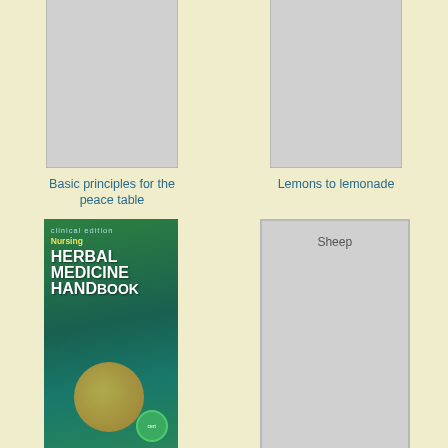[Figure (illustration): Book cover placeholder for 'Basic principles for the peace table' - gray rectangle]
Basic principles for the peace table
[Figure (illustration): Book cover placeholder for 'Lemons to lemonade' - gray rectangle]
Lemons to lemonade
[Figure (illustration): Book cover for Nursing Herbal Medicine Handbook - green cover with title text]
Nursing Herbal Medicine Handbook
[Figure (illustration): Book cover placeholder for 'Sheep' - gray rectangle with Sheep label]
Sheep
[Figure (illustration): Partial book cover at bottom left - green]
[Figure (illustration): Partial book cover placeholder at bottom right - gray]